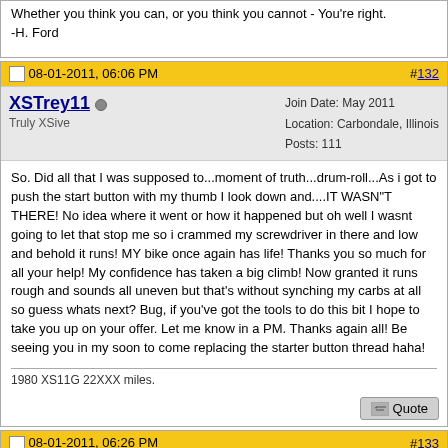Whether you think you can, or you think you cannot - You're right.
-H. Ford
08-01-2011, 06:06 PM  #132
XSTrey11  Truly XSive  Join Date: May 2011  Location: Carbondale, Illinois  Posts: 111
So. Did all that I was supposed to...moment of truth...drum-roll...As i got to push the start button with my thumb I look down and....IT WASN"T THERE! No idea where it went or how it happened but oh well I wasnt going to let that stop me so i crammed my screwdriver in there and low and behold it runs! MY bike once again has life! Thanks you so much for all your help! My confidence has taken a big climb! Now granted it runs rough and sounds all uneven but that's without synching my carbs at all so guess whats next? Bug, if you've got the tools to do this bit I hope to take you up on your offer. Let me know in a PM. Thanks again all! Be seeing you in my soon to come replacing the starter button thread haha!

1980 XS11G 22XXX miles.
08-01-2011, 06:26 PM  #133
cywelchjr  Join Date: Oct 2008  Location: Sacramento, CA  Posts: 4,450